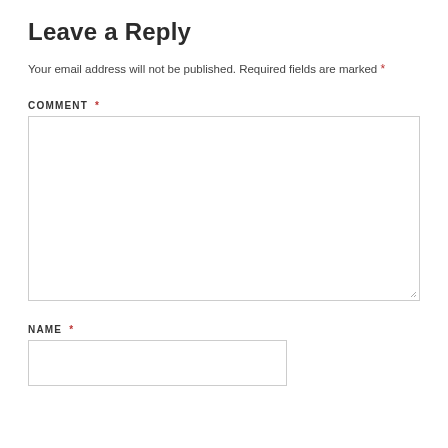Leave a Reply
Your email address will not be published. Required fields are marked *
COMMENT *
[Figure (other): Large comment textarea input box]
NAME *
[Figure (other): Name text input box]